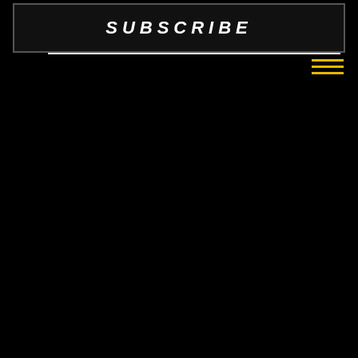SUBSCRIBE
[Figure (other): Three horizontal yellow lines forming a hamburger menu icon in the top right corner]